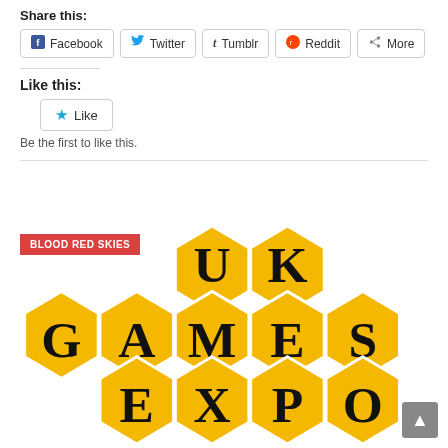Share this:
Facebook
Twitter
Tumblr
Reddit
More
Like this:
Like
Be the first to like this.
[Figure (logo): UK Games Expo logo with honeycomb hexagonal tiles in gold/yellow, letters U, K, G, A, M, E, S, E, X, P, O arranged in hexagons. Red tag overlay reading BLOOD RED SKIES.]